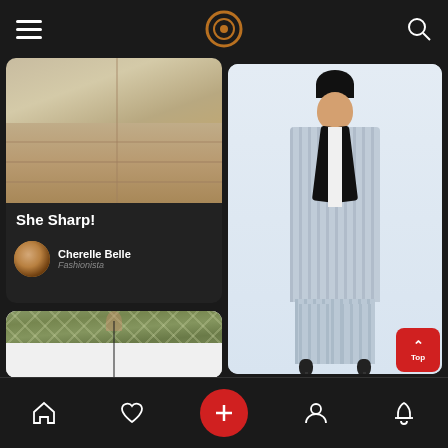[Figure (screenshot): Mobile app top navigation bar with hamburger menu icon on left, circular logo in center, and search icon on right. Dark background.]
[Figure (photo): Close-up photo of concrete pavement/brick steps, beige and tan tones.]
She Sharp!
[Figure (photo): Profile avatar of Cherelle Belle, circular photo.]
Cherelle Belle
Fashionista
[Figure (photo): Green patterned diamond-print cropped jacket on white background.]
[Figure (photo): Woman wearing grey plaid blazer suit with black lapels on white background.]
Tahari by Arthur S. Levine women's blazer ...
[Figure (screenshot): Mobile app bottom navigation bar with home, heart, plus (add), profile, and bell icons on dark background. Red circular plus button in center.]